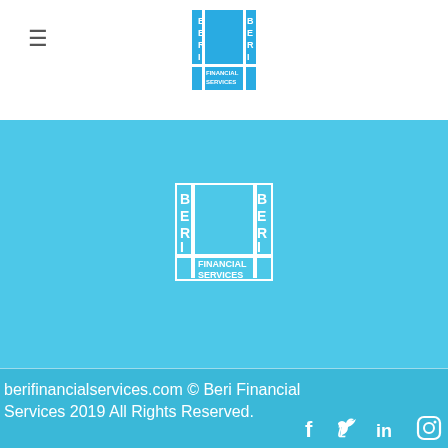Beri Financial Services header with hamburger menu and logo
[Figure (logo): Beri Financial Services logo - blue square logo with BERI text vertically and FINANCIAL SERVICES below, displayed in header]
[Figure (logo): Beri Financial Services logo - white on blue background, centered in blue section]
berifinancialservices.com © Beri Financial Services 2019 All Rights Reserved.
[Figure (other): Social media icons: Facebook, Twitter, LinkedIn, Instagram in white on blue background]